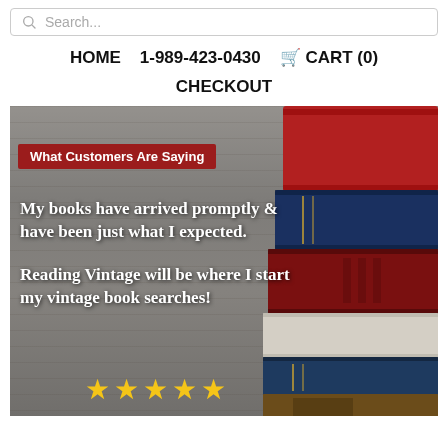Search...
HOME   1-989-423-0430   CART (0)   CHECKOUT
[Figure (photo): Stack of vintage books against a wooden background with customer testimonial text overlay reading 'What Customers Are Saying', 'My books have arrived promptly & have been just what I expected. Reading Vintage will be where I start my vintage book searches!' and five gold stars at the bottom.]